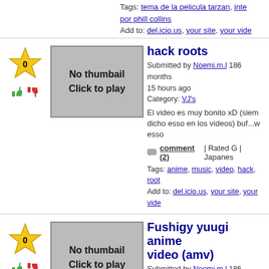Tags: tema de la pelicula tarzan, inte por phill collins
Add to: del.icio.us, your site, your vide
[Figure (screenshot): Video listing entry for 'hack roots' with star rating 0, no thumbnail placeholder, submission metadata, description, comment count, tags and add-to links]
[Figure (screenshot): Video listing entry for 'Fushigy yuugi anime video (amv)' with star rating 0, no thumbnail placeholder, submission metadata, description, comment count, tags and add-to links]